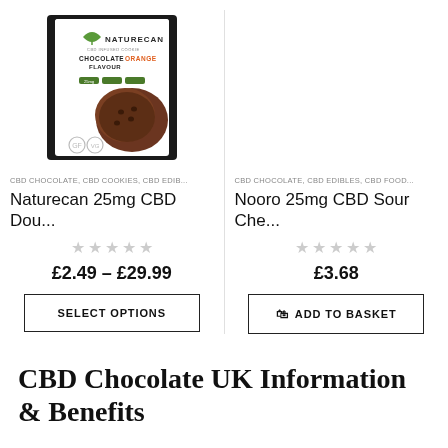[Figure (photo): Naturecan CBD Infused Cookie Chocolate Orange Flavour product package with cookies on a black and white packaging. Product shot partial view.]
CBD CHOCOLATE, CBD COOKIES, CBD EDIB...
Naturecan 25mg CBD Dou...
★★★★★ (empty stars)
£2.49 – £29.99
SELECT OPTIONS
CBD CHOCOLATE, CBD EDIBLES, CBD FOOD...
Nooro 25mg CBD Sour Che...
★★★★★ (empty stars)
£3.68
ADD TO BASKET
CBD Chocolate UK Information & Benefits